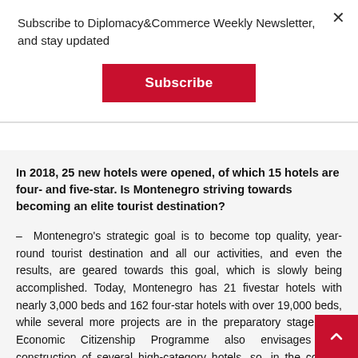Subscribe to Diplomacy&Commerce Weekly Newsletter, and stay updated
Subscribe
In 2018, 25 new hotels were opened, of which 15 hotels are four- and five-star. Is Montenegro striving towards becoming an elite tourist destination?
– Montenegro's strategic goal is to become top quality, year-round tourist destination and all our activities, and even the results, are geared towards this goal, which is slowly being accomplished. Today, Montenegro has 21 fivestar hotels with nearly 3,000 beds and 162 four-star hotels with over 19,000 beds, while several more projects are in the preparatory stage. The Economic Citizenship Programme also envisages the construction of several high-category hotels, so, in the coming period, we expect an expansion of investments in such accommodation